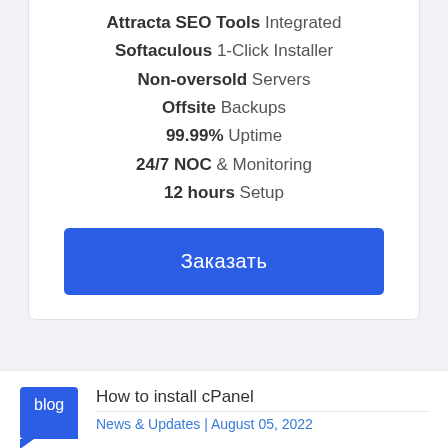Attracta SEO Tools Integrated
Softaculous 1-Click Installer
Non-oversold Servers
Offsite Backups
99.99% Uptime
24/7 NOC & Monitoring
12 hours Setup
Заказать
How to install cPanel
News & Updates | August 05, 2022